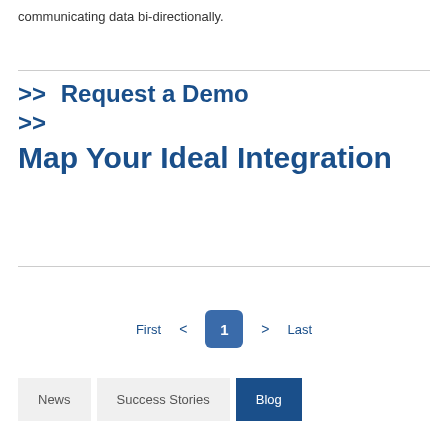communicating data bi-directionally.
>> Request a Demo
>> 
Map Your Ideal Integration
First < 1 > Last | News | Success Stories | Blog